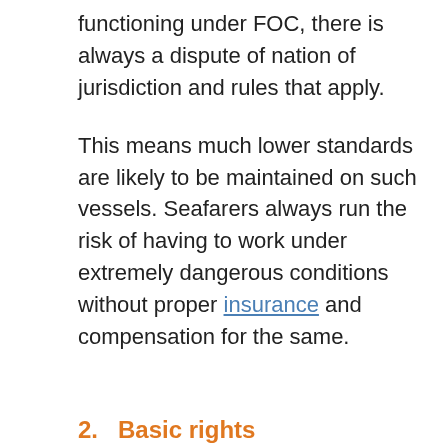functioning under FOC, there is always a dispute of nation of jurisdiction and rules that apply.
This means much lower standards are likely to be maintained on such vessels. Seafarers always run the risk of having to work under extremely dangerous conditions without proper insurance and compensation for the same.
2.   Basic rights
The most important of the drawbacks of FOC is that it does not necessitate a seafarer's basic rights. Right to form or join trade unions, demand